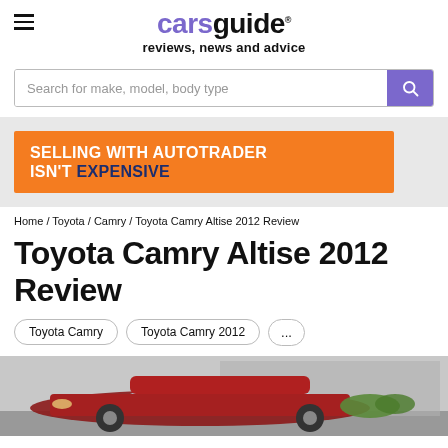carsguide reviews, news and advice
Search for make, model, body type
[Figure (infographic): Orange advertisement banner: SELLING WITH AUTOTRADER ISN'T EXPENSIVE]
Home / Toyota / Camry / Toyota Camry Altise 2012 Review
Toyota Camry Altise 2012 Review
Toyota Camry
Toyota Camry 2012
...
[Figure (photo): Front view of a red Toyota Camry 2012 parked in a driveway]